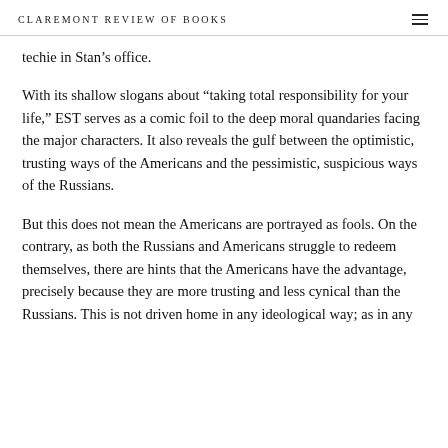CLAREMONT REVIEW OF BOOKS
techie in Stan's office.
With its shallow slogans about “taking total responsibility for your life,” EST serves as a comic foil to the deep moral quandaries facing the major characters. It also reveals the gulf between the optimistic, trusting ways of the Americans and the pessimistic, suspicious ways of the Russians.
But this does not mean the Americans are portrayed as fools. On the contrary, as both the Russians and Americans struggle to redeem themselves, there are hints that the Americans have the advantage, precisely because they are more trusting and less cynical than the Russians. This is not driven home in any ideological way; as in any